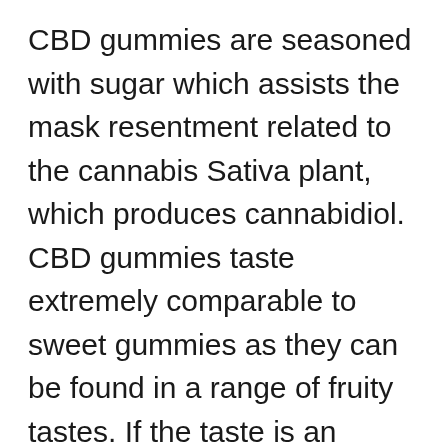CBD gummies are seasoned with sugar which assists the mask resentment related to the cannabis Sativa plant, which produces cannabidiol. CBD gummies taste extremely comparable to sweet gummies as they can be found in a range of fruity tastes. If the taste is an essential aspect, individuals have a tendency to pick CBD gummies over various other CBD items. If you have actually not attempted a CBD gummy, you must attempt one on your own as well as delight in the